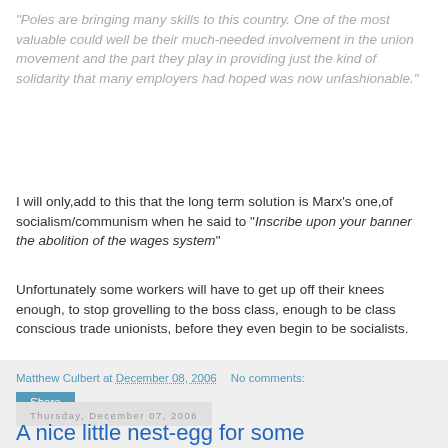"Poles are bringing many skills to this country. One of the most valuable could well be their much-needed involvement in the union movement and the part they play in providing just the kind of solidarity that many employers had hoped was now unfashionable."
I will only,add to this that the long term solution is Marx's one,of socialism/communism when he said to "Inscribe upon your banner the abolition of the wages system"
Unfortunately some workers will have to get up off their knees enough, to stop grovelling to the boss class, enough to be class conscious trade unionists, before they even begin to be socialists.
Matthew Culbert at December 08, 2006   No comments:
Share
Thursday, December 07, 2006
A nice little nest-egg for some